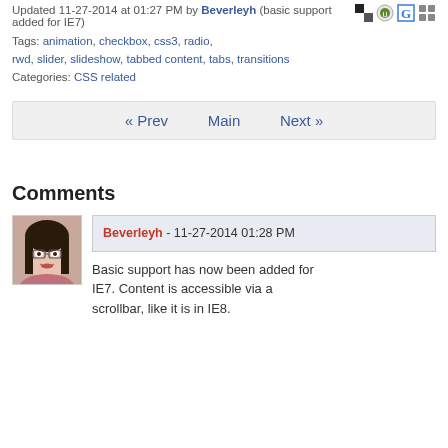Updated 11-27-2014 at 01:27 PM by Beverleyh (basic support added for IE7)
Tags: animation, checkbox, css3, radio, rwd, slider, slideshow, tabbed content, tabs, transitions
Categories: CSS related
« Prev   Main   Next »
Comments
Beverleyh - 11-27-2014 01:28 PM
Basic support has now been added for IE7. Content is accessible via a scrollbar, like it is in IE8.